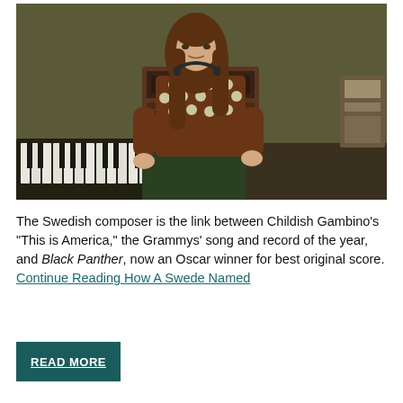[Figure (photo): A young man with long reddish-brown hair sits in a recording studio surrounded by keyboards and music equipment. He wears a patterned brown and white jacket and dark green pants, holding what appears to be a stick or instrument.]
The Swedish composer is the link between Childish Gambino's "This is America," the Grammys' song and record of the year, and Black Panther, now an Oscar winner for best original score. Continue Reading How A Swede Named
READ MORE